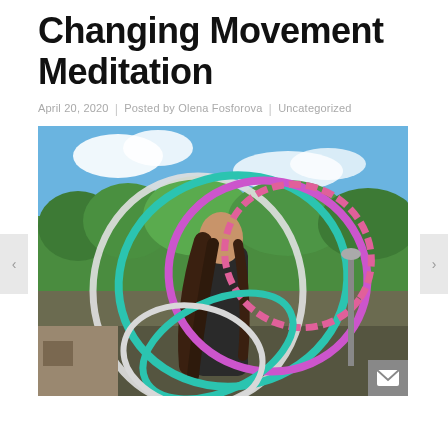Changing Movement Meditation
April 20, 2020  |  Posted by Olena Fosforova  |  Uncategorized
[Figure (photo): A woman with long brown hair surrounded by colorful hula hoops (teal, white, purple, pink) outdoors with trees and blue sky in background]